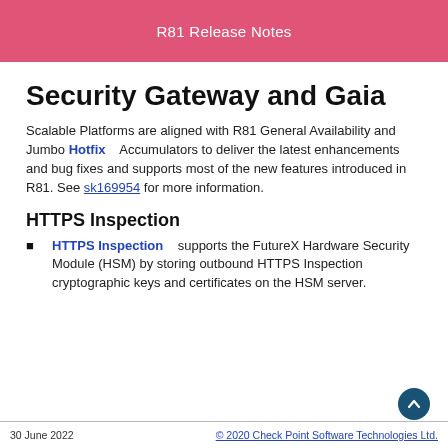R81 Release Notes
Security Gateway and Gaia
Scalable Platforms are aligned with R81 General Availability and Jumbo Hotfix Accumulators to deliver the latest enhancements and bug fixes and supports most of the new features introduced in R81. See sk169954 for more information.
HTTPS Inspection
HTTPS Inspection supports the FutureX Hardware Security Module (HSM) by storing outbound HTTPS Inspection cryptographic keys and certificates on the HSM server.
30 June 2022   © 2020 Check Point Software Technologies Ltd.